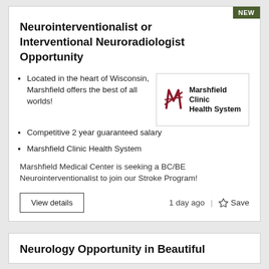NEW
Neurointerventionalist or Interventional Neuroradiologist Opportunity
Located in the heart of Wisconsin, Marshfield offers the best of all worlds!
[Figure (logo): Marshfield Clinic Health System logo with red angular icon and bold text]
Competitive 2 year guaranteed salary
Marshfield Clinic Health System
Marshfield Medical Center is seeking a BC/BE Neurointerventionalist to join our Stroke Program!
View details
1 day ago
Save
Neurology Opportunity in Beautiful